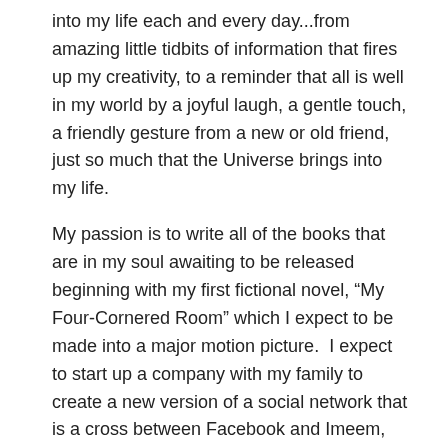into my life each and every day...from amazing little tidbits of information that fires up my creativity, to a reminder that all is well in my world by a joyful laugh, a gentle touch, a friendly gesture from a new or old friend, just so much that the Universe brings into my life.
My passion is to write all of the books that are in my soul awaiting to be released beginning with my first fictional novel, “My Four-Cornered Room” which I expect to be made into a major motion picture.  I expect to start up a company with my family to create a new version of a social network that is a cross between Facebook and Imeem, and to finally come together with my Twin Flame and to live the life that we have envisioned for such a long time.  To have the reunion of the Twin Flames would be heaven on earth.  In addition, to begin working together with my Twin Flame to serve humanity in every way possible...sharing inspirational msgs, serving, giving, and sharing.